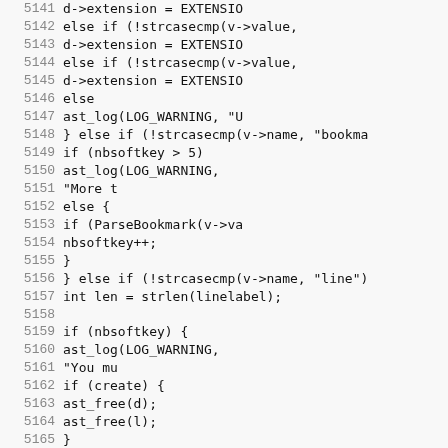Source code listing lines 5141-5172, showing C code for parsing configuration values including extension handling, bookmark parsing, and line processing with mutex initialization and bookmark reset logic.